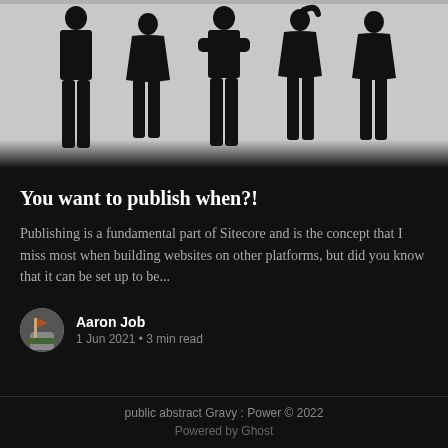[Figure (illustration): Hero image showing silhouettes of five people standing against a light gray background, displayed as a dark-themed blog post card header image.]
You want to publish when?!
Publishing is a fundamental part of Sitecore and is the concept that I miss most when building websites on other platforms, but did you know that it can be set up to be...
Aaron Job
1 Jun 2021 • 3 min read
public abstract Gravy : Power © 2022
Powered by Ghost